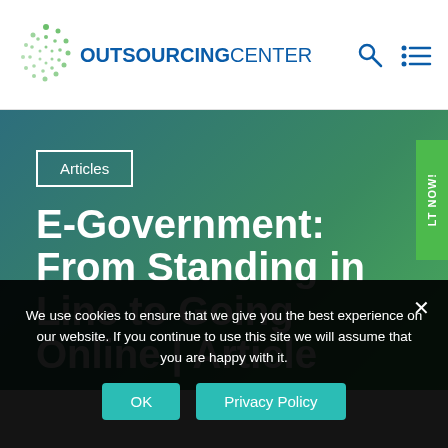OUTSOURCING CENTER
Articles
E-Government: From Standing in Line to Going Online | Article
LT NOW!
We use cookies to ensure that we give you the best experience on our website. If you continue to use this site we will assume that you are happy with it.
OK
Privacy Policy